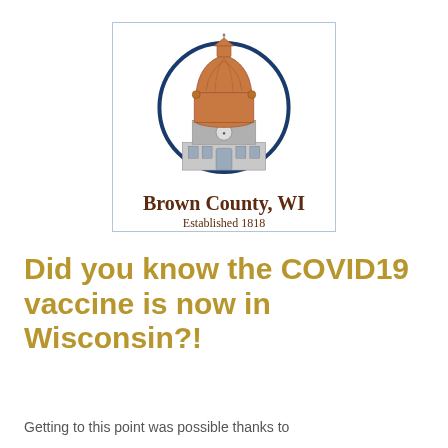[Figure (logo): Brown County WI official seal/logo: a courthouse dome building with orange/terracotta dome, inside a dark blue circle, with 'Brown County, WI' and 'Established 1818' text below, all enclosed in a light blue bordered square box]
Did you know the COVID19 vaccine is now in Wisconsin?!
Getting to this point was possible thanks to